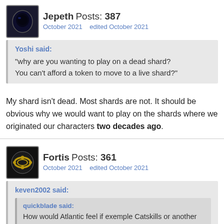Jepeth Posts: 387
October 2021   edited October 2021
Yoshi said:
"why are you wanting to play on a dead shard?
You can't afford a token to move to a live shard?"
My shard isn't dead. Most shards are not. It should be obvious why we would want to play on the shards where we originated our characters two decades ago.
Fortis Posts: 361
October 2021   edited October 2021
keven2002 said:
quickblade said:
How would Atlantic feel if exemple Catskills or another shard would get the event in fel and not on Atl, be in someone's else shoes for a sec we all pay the same amount of money.